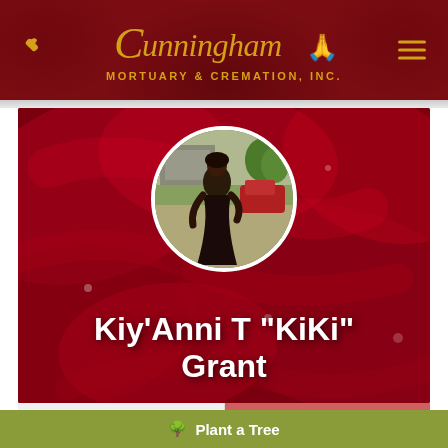Cunningham Mortuary & Cremation, Inc.
[Figure (photo): Memorial page hero with red rose background and circular portrait photo of Kiy'Anni T KiKi Grant, a young woman in a black dress standing outdoors]
Kiy'Anni T "KiKi" Grant
Share a memory
Send Flowers
Plant a Tree